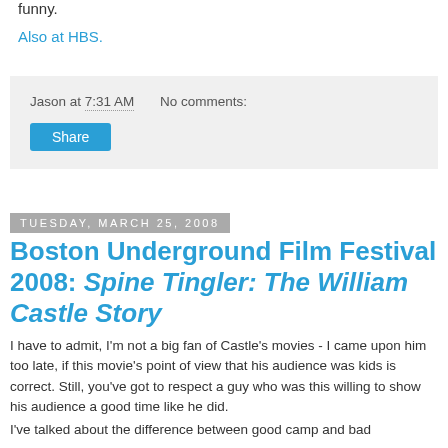funny.
Also at HBS.
Jason at 7:31 AM     No comments:
Share
Tuesday, March 25, 2008
Boston Underground Film Festival 2008: Spine Tingler: The William Castle Story
I have to admit, I'm not a big fan of Castle's movies - I came upon him too late, if this movie's point of view that his audience was kids is correct. Still, you've got to respect a guy who was this willing to show his audience a good time like he did.
I've talked about the difference between good camp and bad